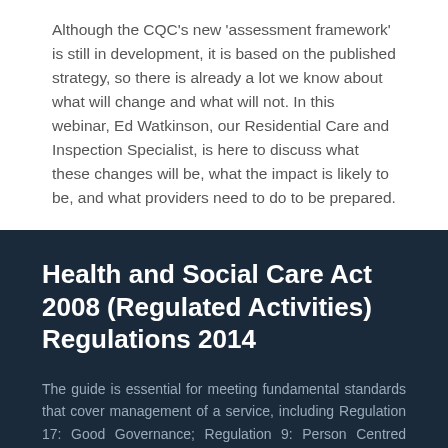Although the CQC's new 'assessment framework' is still in development, it is based on the published strategy, so there is already a lot we know about what will change and what will not. In this webinar, Ed Watkinson, our Residential Care and Inspection Specialist, is here to discuss what these changes will be, what the impact is likely to be, and what providers need to do to be prepared.
Health and Social Care Act 2008 (Regulated Activities) Regulations 2014
The guide is essential for meeting fundamental standards that cover management of a service, including Regulation 17: Good Governance; Regulation 9: Person Centred Care; Regulation 12: